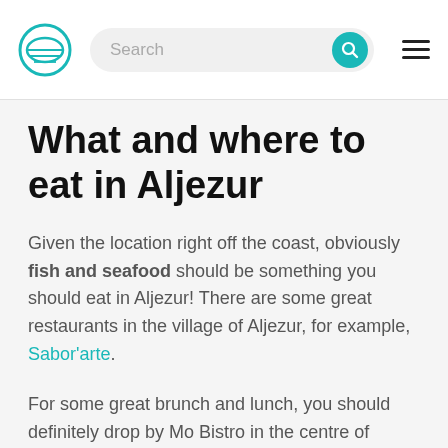Search [logo] [hamburger menu]
What and where to eat in Aljezur
Given the location right off the coast, obviously fish and seafood should be something you should eat in Aljezur! There are some great restaurants in the village of Aljezur, for example, Sabor'arte.
For some great brunch and lunch, you should definitely drop by Mo Bistro in the centre of Aljezur. Here you have great coffee, daily